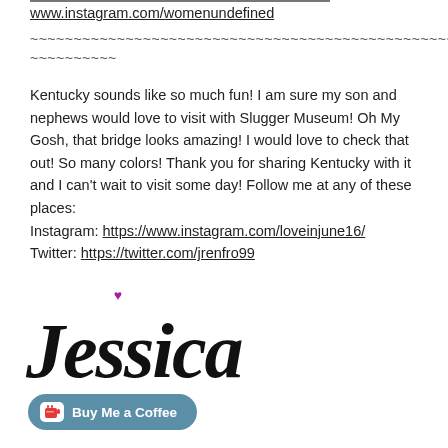www.instagram.com/womenundefined
~~~~~~~~~~~~~~~~~~~~~~~~~~~~~~~~~~~~~~~~~~~~~~~~~~~~~~~~~~~~~~~~~~~~
Kentucky sounds like so much fun! I am sure my son and nephews would love to visit with Slugger Museum! Oh My Gosh, that bridge looks amazing! I would love to check that out! So many colors! Thank you for sharing Kentucky with it and I can't wait to visit some day! Follow me at any of these places:
Instagram: https://www.instagram.com/loveinjune16/
Twitter: https://twitter.com/jrenfro99
[Figure (illustration): Cursive signature reading 'Jessica' in large black script font with a small purple heart above the J]
[Figure (other): Teal rounded button with coffee cup icon and text 'Buy Me a Coffee']